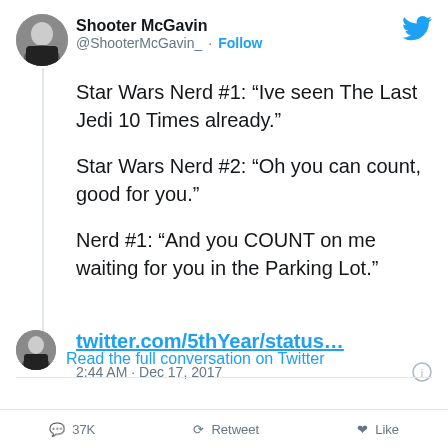[Figure (photo): Profile photo of Shooter McGavin, a man in a dark blazer]
Shooter McGavin
@ShooterMcGavin_ · Follow
[Figure (logo): Twitter bird logo in blue]
Star Wars Nerd #1: “Ive seen The Last Jedi 10 Times already.”

Star Wars Nerd #2: “Oh you can count, good for you.”

Nerd #1: “And you COUNT on me waiting for you in the Parking Lot.”
twitter.com/5thYear/status…
2:44 AM · Dec 17, 2017
[Figure (photo): Small profile photo of Shooter McGavin]
Read the full conversation on Twitter